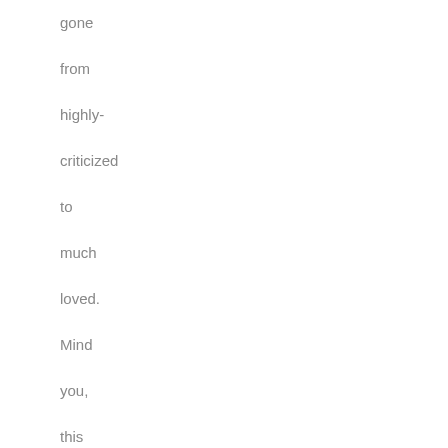gone from highly-criticized to much loved. Mind you, this face-clutching episode (read Wikipedia entry) was definitely one of the worst moments in